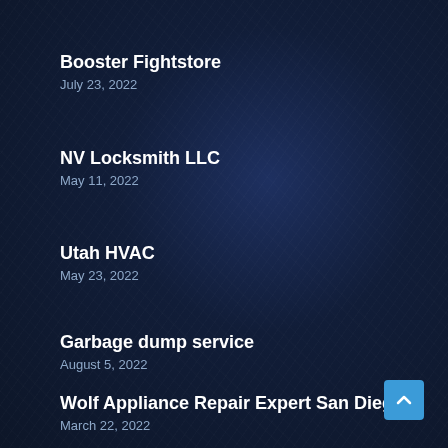Booster Fightstore
July 23, 2022
NV Locksmith LLC
May 11, 2022
Utah HVAC
May 23, 2022
Garbage dump service
August 5, 2022
Wolf Appliance Repair Expert San Diego
March 22, 2022